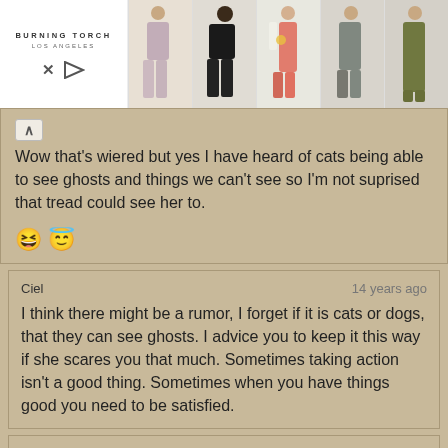[Figure (screenshot): Advertisement banner for Burning Torch Los Angeles showing five female fashion models in various outfits]
Wow that's wiered but yes I have heard of cats being able to see ghosts and things we can't see so I'm not suprised that tread could see her to. [emoji] [emoji]
Ciel  14 years ago
I think there might be a rumor, I forget if it is cats or dogs, that they can see ghosts. I advice you to keep it this way if she scares you that much. Sometimes taking action isn't a good thing. Sometimes when you have things good you need to be satisfied.
mustang  15 years ago
Hi jade. I also have the same questions as the others. It sounds as if this entity was attached to you since it follows you